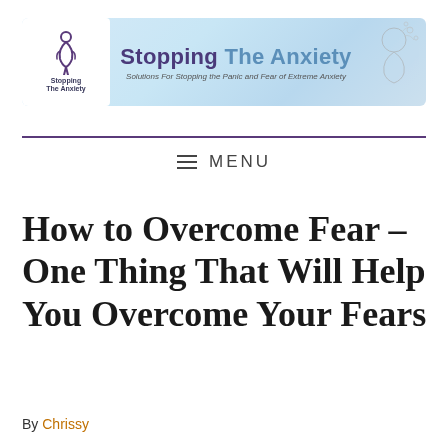[Figure (logo): Stopping The Anxiety website header banner with logo on left showing a figure icon and brand name, center text 'Stopping The Anxiety' with subtitle 'Solutions For Stopping the Panic and Fear of Extreme Anxiety', and decorative illustration on right]
MENU
How to Overcome Fear – One Thing That Will Help You Overcome Your Fears
By Chrissy